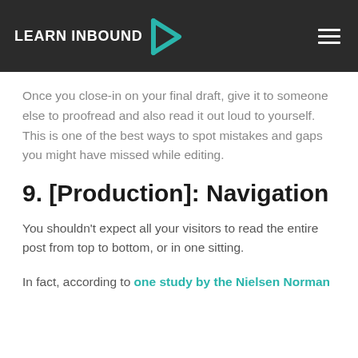LEARN INBOUND
Once you close-in on your final draft, give it to someone else to proofread and also read it out loud to yourself. This is one of the best ways to spot mistakes and gaps you might have missed while editing.
9. [Production]: Navigation
You shouldn't expect all your visitors to read the entire post from top to bottom, or in one sitting.
In fact, according to one study by the Nielsen Norman